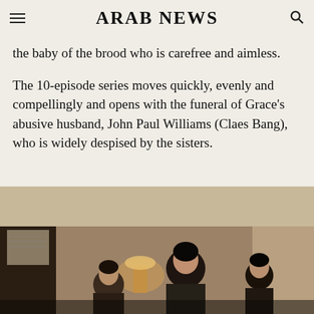ARAB NEWS
the baby of the brood who is carefree and aimless.
The 10-episode series moves quickly, evenly and compellingly and opens with the funeral of Grace’s abusive husband, John Paul Williams (Claes Bang), who is widely despised by the sisters.
[Figure (photo): Scene from a TV series showing women seated indoors in a dimly lit home setting]